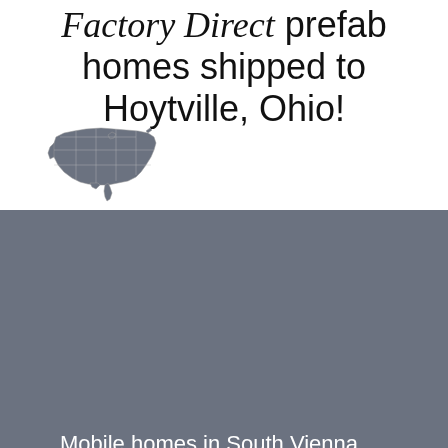Factory Direct prefab homes shipped to Hoytville, Ohio!
[Figure (map): Silhouette map of the contiguous United States in dark gray]
Mobile homes in South Vienna
Mobile homes in South Webster
Mobile homes in Southington
Mobile homes in Sparta
Mobile homes in Spencer
[Figure (other): Green phone button with telephone handset icon and label 'Us']
homes in Spencerville
homes in Spring Valley
homes in Springboro